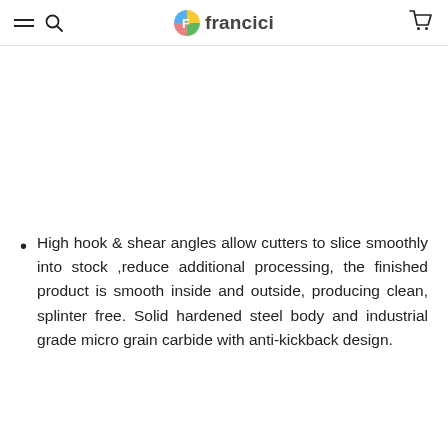francici
High hook & shear angles allow cutters to slice smoothly into stock ,reduce additional processing, the finished product is smooth inside and outside, producing clean, splinter free. Solid hardened steel body and industrial grade micro grain carbide with anti-kickback design.